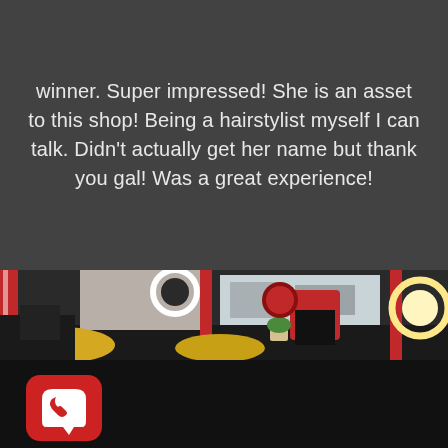winner. Super impressed! She is an asset to this shop! Being a hairstylist myself I can talk. Didn't actually get her name but thank you gal! Was a great experience!
[Figure (photo): Interior of a barber shop with red barber chairs, ring lights, mirrors, and a view of the street through the window. Tools and equipment on a counter in the foreground.]
[Figure (logo): Red ghost/phone icon (app icon) on a dark background at the bottom of the page.]